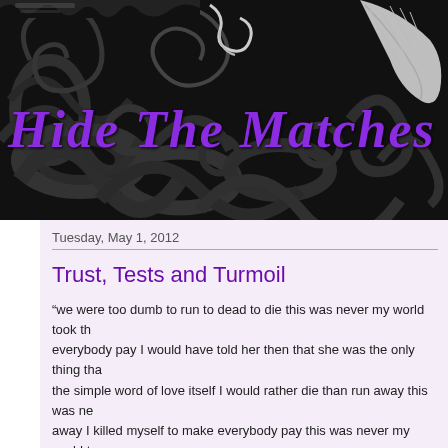[Figure (illustration): Black background with dark grey swirling floral/scroll patterns and white leaf/feather decorative element in upper right corner. Decorative blog header image.]
Hide The Matches
Tuesday, May 1, 2012
Trust, Tests and Turmoil
“we were too dumb to run to dead to die this was never my world took the everybody pay I would have told her then that she was the only thing tha the simple word of love itself I would rather die than run away this was ne away I killed myself to make everybody pay this was never my world too world they took the angel away I killed myself to make everybody pay we die… its broken and bleeding and you can never repair and we can neve
Some of us are merely born to die” –Manson